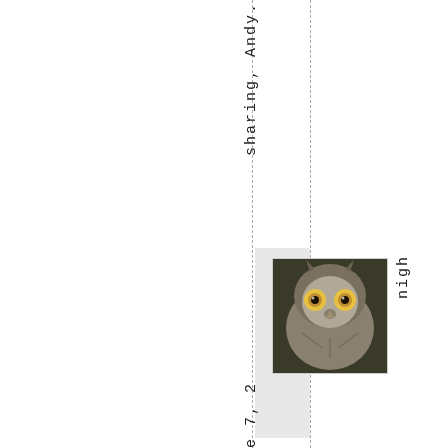sharing, Andy.
[Figure (photo): Close-up photo of a great horned owl facing forward with bright yellow eyes]
night owl June 7, 2